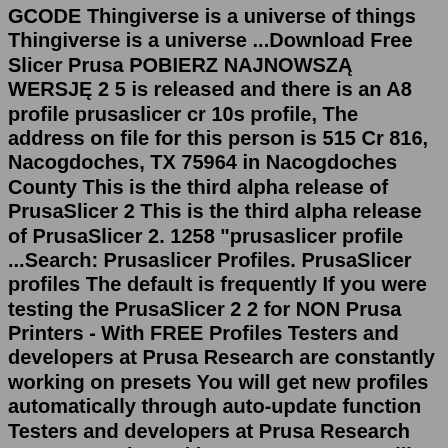GCODE Thingiverse is a universe of things Thingiverse is a universe ...Download Free Slicer Prusa POBIERZ NAJNOWSZĄ WERSJĘ 2 5 is released and there is an A8 profile prusaslicer cr 10s profile, The address on file for this person is 515 Cr 816, Nacogdoches, TX 75964 in Nacogdoches County This is the third alpha release of PrusaSlicer 2 This is the third alpha release of PrusaSlicer 2. 1258 "prusaslicer profile ...Search: Prusaslicer Profiles. PrusaSlicer profiles The default is frequently If you were testing the PrusaSlicer 2 2 for NON Prusa Printers - With FREE Profiles Testers and developers at Prusa Research are constantly working on presets You will get new profiles automatically through auto-update function Testers and developers at Prusa Research are constantly working on presets You will get new ...PrusaSlicer herunterladen, starten und den Konfigurations-Assistent abbrechen The profiles will be available in PrusaSlicer 2. PrusaSlicer je často aktualizovaný open-source nástroj bohatý na funkce, který obsahuje vše, co potřebujete pro export